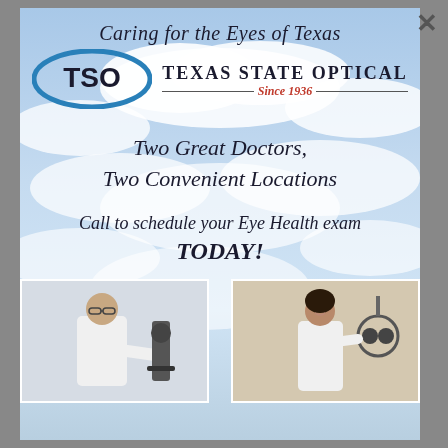[Figure (illustration): Texas State Optical advertisement with sky/clouds background. TSO logo (blue oval with TSO text), tagline 'Caring for the Eyes of Texas', brand name 'Texas State Optical Since 1936', headline 'Two Great Doctors, Two Convenient Locations', call-to-action 'Call to schedule your Eye Health exam TODAY!', and two doctor photos at the bottom showing optometrists with eye exam equipment.]